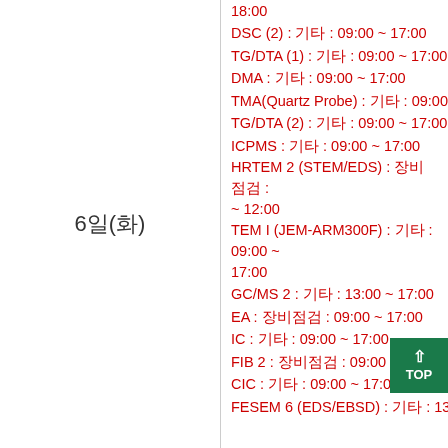6일(화)
18:00
DSC (2) : 기타 : 09:00 ~ 17:00
TG/DTA (1) : 기타 : 09:00 ~ 17:00
DMA : 기타 : 09:00 ~ 17:00
TMA(Quartz Probe) : 기타 : 09:00 ~
TG/DTA (2) : 기타 : 09:00 ~ 17:00
ICPMS : 기타 : 09:00 ~ 17:00
HRTEM 2 (STEM/EDS) : 장비점검 : ~ 12:00
TEM I (JEM-ARM300F) : 기타 : 09:00 ~ 17:00
GC/MS 2 : 기타 : 13:00 ~ 17:00
EA : 장비점검 : 09:00 ~ 17:00
IC : 기타 : 09:00 ~ 17:00
FIB 2 : 장비점검 : 09:00 ~ 17:00
CIC : 기타 : 09:00 ~ 17:00
FESEM 6 (EDS/EBSD) : 기타 : 13:00 ~